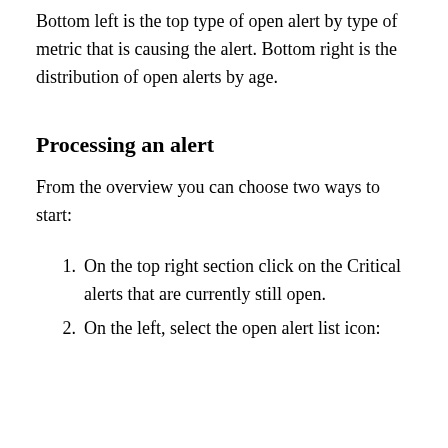Bottom left is the top type of open alert by type of metric that is causing the alert. Bottom right is the distribution of open alerts by age.
Processing an alert
From the overview you can choose two ways to start:
On the top right section click on the Critical alerts that are currently still open.
On the left, select the open alert list icon: